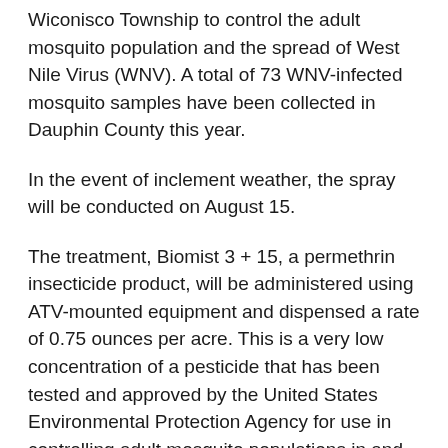Wiconisco Township to control the adult mosquito population and the spread of West Nile Virus (WNV). A total of 73 WNV-infected mosquito samples have been collected in Dauphin County this year.
In the event of inclement weather, the spray will be conducted on August 15.
The treatment, Biomist 3 + 15, a permethrin insecticide product, will be administered using ATV-mounted equipment and dispensed a rate of 0.75 ounces per acre. This is a very low concentration of a pesticide that has been tested and approved by the United States Environmental Protection Agency for use in controlling adult mosquito populations in and around people. The areas of Oakdale Station Road and the Lykens and Wiconisco sewage treatment plants will be targeted.